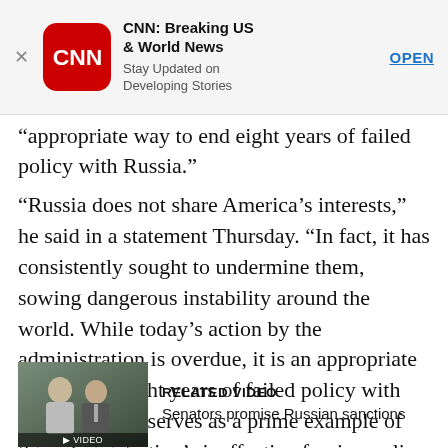[Figure (screenshot): CNN Breaking US & World News app advertisement banner with CNN logo, app name, tagline 'Stay Updated on Developing Stories', and OPEN button]
“appropriate way to end eight years of failed policy with Russia.”
“Russia does not share America’s interests,” he said in a statement Thursday. “In fact, it has consistently sought to undermine them, sowing dangerous instability around the world. While today’s action by the administration is overdue, it is an appropriate way to end eight years of failed policy with Russia. And it serves as a prime example of this administration’s ineffective foreign policy that has left America weaker in the eyes of the world.”
[Figure (photo): Thumbnail image of two men (senators) in suits]
RELATED VIDEO
Senators promise Russian sanctions